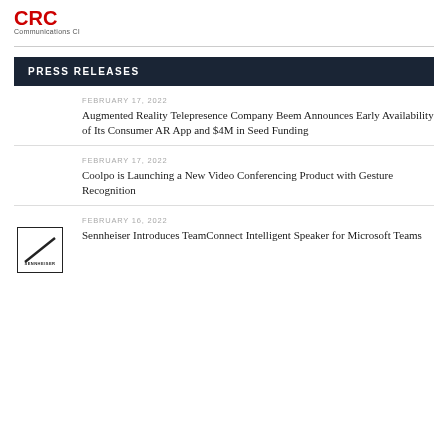[Figure (logo): CRC Communications Cloud logo — red stylized letters above 'Communications Cloud' text]
PRESS RELEASES
FEBRUARY 17, 2022
Augmented Reality Telepresence Company Beem Announces Early Availability of Its Consumer AR App and $4M in Seed Funding
FEBRUARY 17, 2022
Coolpo is Launching a New Video Conferencing Product with Gesture Recognition
FEBRUARY 16, 2022
[Figure (logo): Sennheiser logo — diagonal line in a square box with SENNHEISER text below]
Sennheiser Introduces TeamConnect Intelligent Speaker for Microsoft Teams